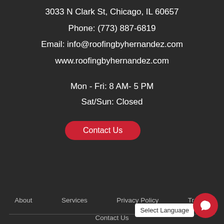3033 N Clark St, Chicago, IL 60657
Phone: (773) 887-6819
Email: info@roofingbyhernandez.com
www.roofingbyhernandez.com
Mon - Fri: 8 AM- 5 PM
Sat/Sun: Closed
[Figure (screenshot): Red 'Contact Us' button and grey 'close' button, plus a white chat bubble with avatar and text 'Hi there, have a question? Text us here.']
About   Services   Privacy Policy   Trademarks   Contact Us   Select Language